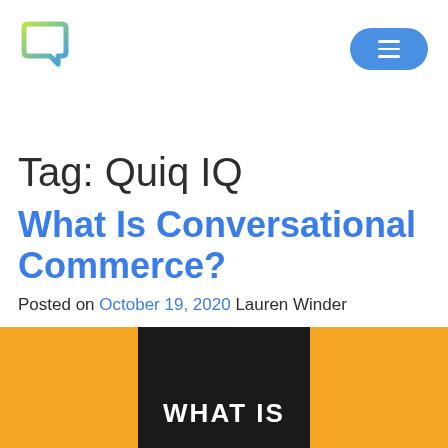Quiq logo and navigation menu button
Tag: Quiq IQ
What Is Conversational Commerce?
Posted on October 19, 2020 Lauren Winder
[Figure (photo): Article thumbnail image with orange background and black center panel showing 'WHAT IS' text in white bold letters]